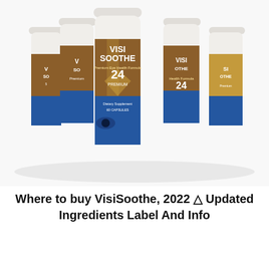[Figure (photo): Six white supplement bottles with brown and gold labels reading 'VISI SOOTHE' and 'Premium Eye Health Formula', arranged in a group with the center bottle most prominent. Each bottle shows '24 PREMIUM' on the label with a blue lower section.]
Where to buy VisiSoothe, 2022 ⚠ Updated Ingredients Label And Info